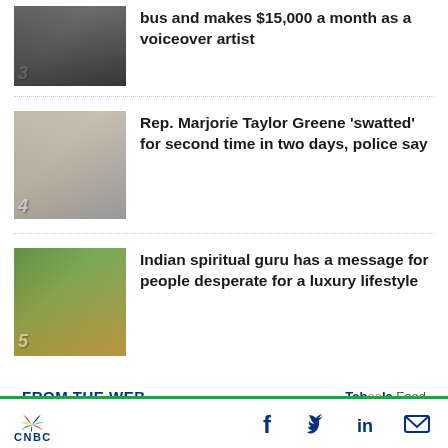[Figure (photo): Thumbnail image #3 showing a person in a dark setting]
bus and makes $15,000 a month as a voiceover artist
[Figure (photo): Thumbnail image #4 showing a blonde woman, Rep. Marjorie Taylor Greene]
Rep. Marjorie Taylor Greene ‘swatted’ for second time in two days, police say
[Figure (photo): Thumbnail image #5 showing an Indian spiritual guru with a crowd]
Indian spiritual guru has a message for people desperate for a luxury lifestyle
FROM THE WEB
[Figure (photo): Preview image strip at the bottom showing the top of a person's head]
CNBC logo with social media icons: Facebook, Twitter, LinkedIn, Email